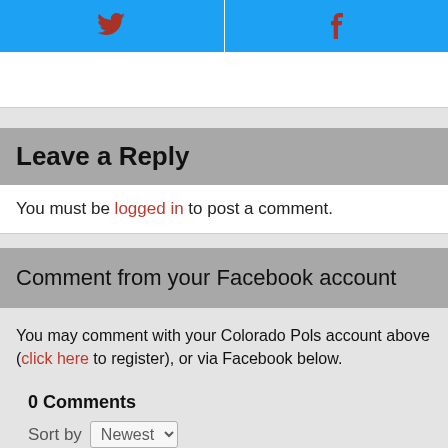[Figure (other): Two social sharing buttons side by side: Twitter (bird icon) and Facebook (f icon), both with blue backgrounds and dark red icons]
Leave a Reply
You must be logged in to post a comment.
Comment from your Facebook account
You may comment with your Colorado Pols account above (click here to register), or via Facebook below.
0 Comments
Sort by Newest
This thread is closed